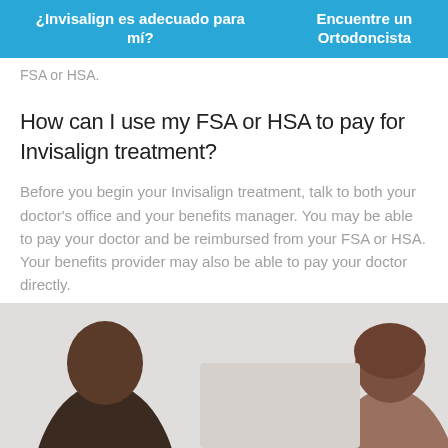¿Invisalign es adecuado para mí?  |  Encuentre un Ortodoncista
FSA or HSA.
How can I use my FSA or HSA to pay for Invisalign treatment?
Before you begin your Invisalign treatment, talk to both your doctor's office and your benefits manager. You may be able to pay your doctor and be reimbursed from your FSA or HSA. Your benefits provider may also be able to pay your doctor directly.
[Figure (photo): Two women in conversation, one with dark skin and one with light skin and brown hair, in an office setting.]